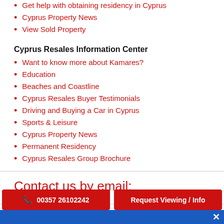Get help with obtaining residency in Cyprus
Cyprus Property News
View Sold Property
Cyprus Resales Information Center
Want to know more about Kamares?
Education
Beaches and Coastline
Cyprus Resales Buyer Testimonials
Driving and Buying a Car in Cyprus
Sports & Leisure
Cyprus Property News
Permanent Residency
Cyprus Resales Group Brochure
Contact us by email:
00357 26102242
Request Viewing / Info